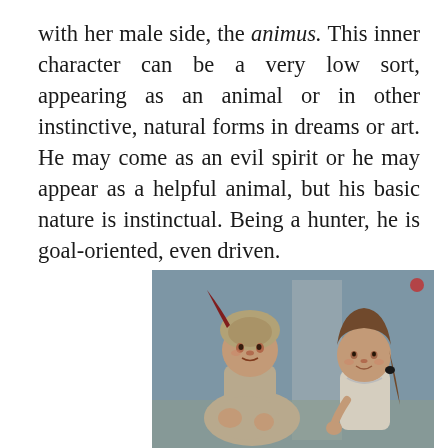with her male side, the animus. This inner character can be a very low sort, appearing as an animal or in other instinctive, natural forms in dreams or art. He may come as an evil spirit or he may appear as a helpful animal, but his basic nature is instinctual. Being a hunter, he is goal-oriented, even driven.
[Figure (illustration): A vintage illustrated scene showing two children: a boy wearing a horned animal-skin hat sitting on the left with his knees drawn up, and a girl with braided hair on the right, both appearing to be indoors in a dim setting.]